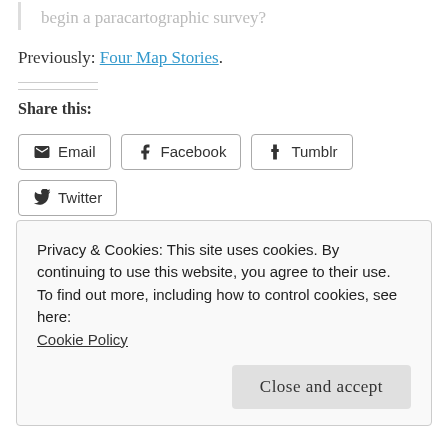begin a paracartographic survey?
Previously: Four Map Stories.
Share this:
Email  Facebook  Tumblr  Twitter
Like this:
Like
Privacy & Cookies: This site uses cookies. By continuing to use this website, you agree to their use.
To find out more, including how to control cookies, see here:
Cookie Policy
Close and accept